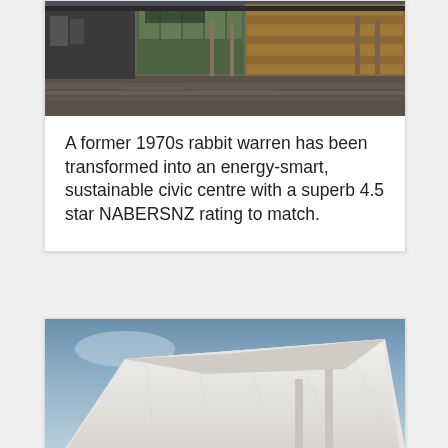[Figure (photo): Exterior photograph of a modern civic centre building at dusk, showing glass facades, wooden cladding panels, and a paved plaza area in the foreground.]
A former 1970s rabbit warren has been transformed into an energy-smart, sustainable civic centre with a superb 4.5 star NABERSNZ rating to match.
[Figure (photo): Architectural photograph looking up at the roof and canopy structure of a building against a blue sky, showing white geometric roof panels and supporting columns.]